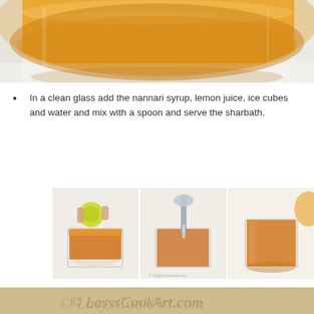[Figure (photo): Close-up photo of orange/amber liquid (nannari syrup) in a glass bowl or container, seen from the side, on a white surface.]
In a clean glass add the nannari syrup, lemon juice, ice cubes and water and mix with a spoon and serve the sharbath.
[Figure (photo): Three-panel step photo showing: left panel - a hand squeezing lime into a glass with orange liquid; middle panel - water being poured from a spoon into the glass; right panel - the finished orange drink in the glass. Watermark reads © LasysCookArt.com]
[Figure (photo): Partial view of a photo at the bottom with cursive text watermark reading © LasysCookArt.com on a tan/golden background.]